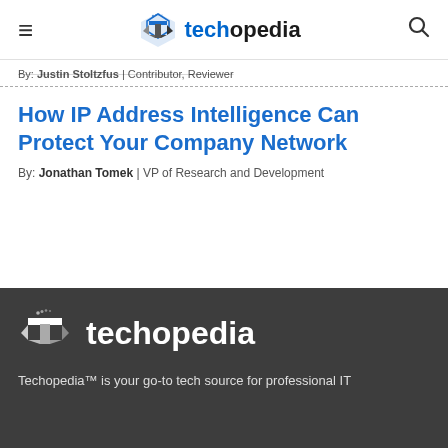techopedia — navigation header with hamburger menu and search icon
By: Justin Stoltzfus | Contributor, Reviewer
How IP Address Intelligence Can Protect Your Company Network
By: Jonathan Tomek | VP of Research and Development
Techopedia™ is your go-to tech source for professional IT